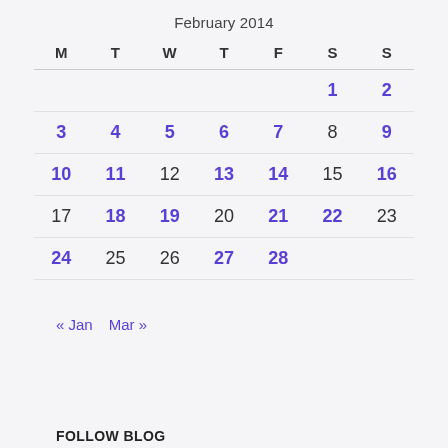February 2014
| M | T | W | T | F | S | S |
| --- | --- | --- | --- | --- | --- | --- |
|  |  |  |  |  | 1 | 2 |
| 3 | 4 | 5 | 6 | 7 | 8 | 9 |
| 10 | 11 | 12 | 13 | 14 | 15 | 16 |
| 17 | 18 | 19 | 20 | 21 | 22 | 23 |
| 24 | 25 | 26 | 27 | 28 |  |  |
« Jan   Mar »
FOLLOW BLOG